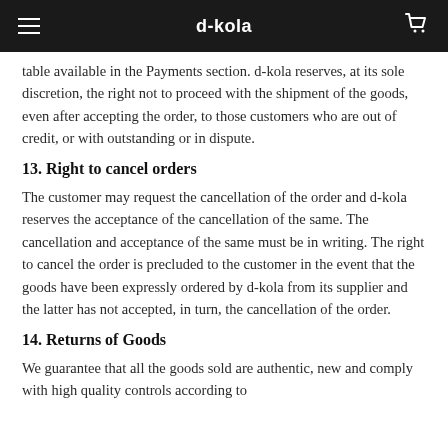d-kola
table available in the Payments section. d-kola reserves, at its sole discretion, the right not to proceed with the shipment of the goods, even after accepting the order, to those customers who are out of credit, or with outstanding or in dispute.
13. Right to cancel orders
The customer may request the cancellation of the order and d-kola reserves the acceptance of the cancellation of the same. The cancellation and acceptance of the same must be in writing. The right to cancel the order is precluded to the customer in the event that the goods have been expressly ordered by d-kola from its supplier and the latter has not accepted, in turn, the cancellation of the order.
14. Returns of Goods
We guarantee that all the goods sold are authentic, new and comply with high quality controls according to